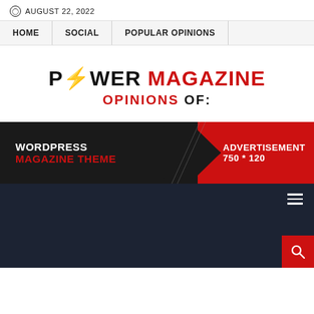AUGUST 22, 2022
HOME | SOCIAL | POPULAR OPINIONS
POWER MAGAZINE OPINIONS OF:
[Figure (infographic): Advertisement banner: dark background left side with 'WORDPRESS MAGAZINE THEME' text, red chevron divider, red right side with 'ADVERTISEMENT 750 * 120' text]
[Figure (screenshot): Dark navy footer/mobile nav area with hamburger menu icon top right and red search button bottom right]